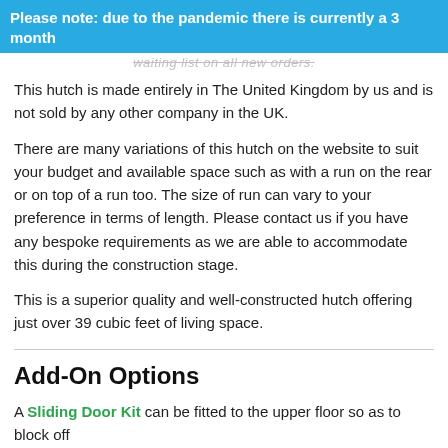Please note: due to the pandemic there is currently a 3 month
waiting list on all new orders.
This hutch is made entirely in The United Kingdom by us and is not sold by any other company in the UK.
There are many variations of this hutch on the website to suit your budget and available space such as with a run on the rear or on top of a run too. The size of run can vary to your preference in terms of length. Please contact us if you have any bespoke requirements as we are able to accommodate this during the construction stage.
This is a superior quality and well-constructed hutch offering just over 39 cubic feet of living space.
Add-On Options
A Sliding Door Kit can be fitted to the upper floor so as to block off a... n closed you can confine you bunny t...
[Figure (other): WhatsApp Us button - green rounded button with WhatsApp icon]
A Hinged Rabbit Hutch Roof Kit can be added at the rear so that it